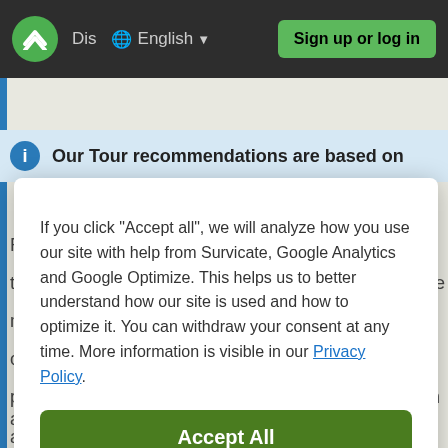Dis  English  Sign up or log in
[Figure (screenshot): Cookie consent dialog overlay on a travel website. Shows 'Our Tour recommendations are based on' info banner, followed by a white modal with cookie consent text, Accept All button, Decline button, and Details button.]
If you click "Accept all", we will analyze how you use our site with help from Survicate, Google Analytics and Google Optimize. This helps us to better understand how our site is used and how to optimize it. You can withdraw your consent at any time. More information is visible in our Privacy Policy.
Accept All
Decline
Details